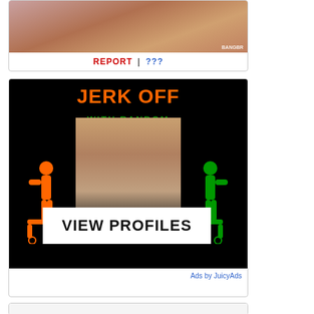[Figure (photo): Partial photo of a person, with BANGBR watermark in bottom right]
REPORT | ???
[Figure (advertisement): Advertisement image: 'JERK OFF WITH RANDOM MILF' with orange and green stick figures and a center photo, VIEW PROFILES banner, Ads by JuicyAds]
Ads by JuicyAds
[Figure (photo): Partially visible card at bottom]